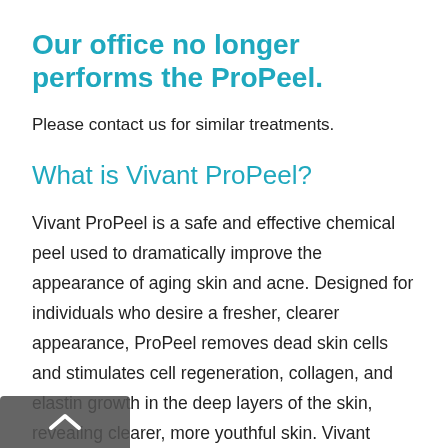Our office no longer performs the ProPeel.
Please contact us for similar treatments.
What is Vivant ProPeel?
Vivant ProPeel is a safe and effective chemical peel used to dramatically improve the appearance of aging skin and acne. Designed for individuals who desire a fresher, clearer appearance, ProPeel removes dead skin cells and stimulates cell regeneration, collagen, and elastin growth in the deep layers of the skin, revealing clearer, more youthful skin. Vivant ProPeel also lightens brown spots and patches on the face and brings